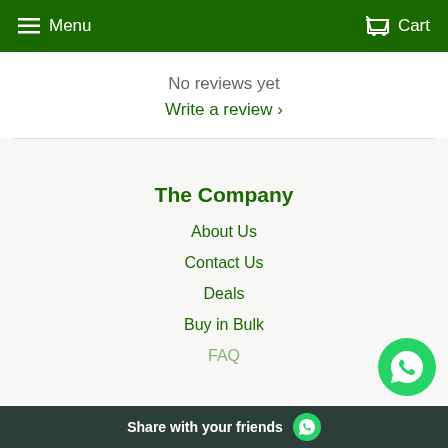Menu  Cart
No reviews yet
Write a review ›
The Company
About Us
Contact Us
Deals
Buy in Bulk
FAQ
[Figure (illustration): WhatsApp floating action button - green circle with white WhatsApp logo]
Share with your friends